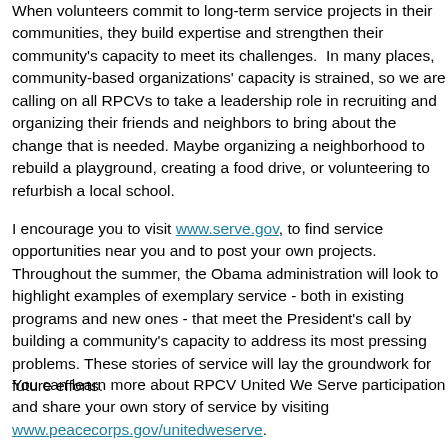When volunteers commit to long-term service projects in their communities, they build expertise and strengthen their community's capacity to meet its challenges. In many places, community-based organizations' capacity is strained, so we are calling on all RPCVs to take a leadership role in recruiting and organizing their friends and neighbors to bring about the change that is needed. Maybe organizing a neighborhood to rebuild a playground, creating a food drive, or volunteering to refurbish a local school.
I encourage you to visit www.serve.gov, to find service opportunities near you and to post your own projects. Throughout the summer, the Obama administration will look to highlight examples of exemplary service - both in existing programs and new ones - that meet the President's call by building a community's capacity to address its most pressing problems. These stories of service will lay the groundwork for future efforts.
You can learn more about RPCV United We Serve participation and share your own story of service by visiting www.peacecorps.gov/unitedweserve.